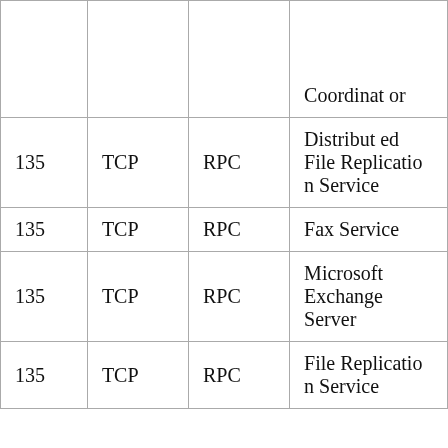|  |  |  | Coordinat or |
| 135 | TCP | RPC | Distributed File Replication Service |
| 135 | TCP | RPC | Fax Service |
| 135 | TCP | RPC | Microsoft Exchange Server |
| 135 | TCP | RPC | File Replication Service |